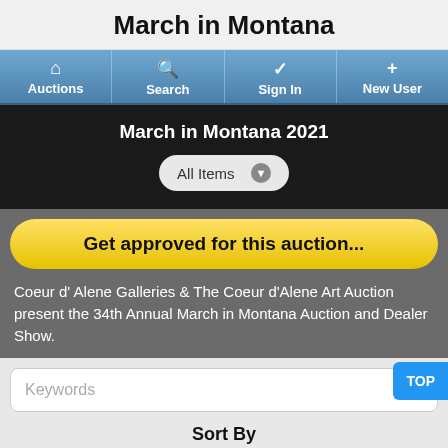March in Montana
[Figure (screenshot): Navigation bar with four items: Auctions (home icon), Search (magnifier icon), Sign In (checkmark icon), New User (plus icon)]
March in Montana 2021
All Items
Get approved for this auction...
Coeur d' Alene Galleries & The Coeur d'Alene Art Auction present the 34th Annual March in Montana Auction and Dealer Show.
Keywords
Sort By
TOP